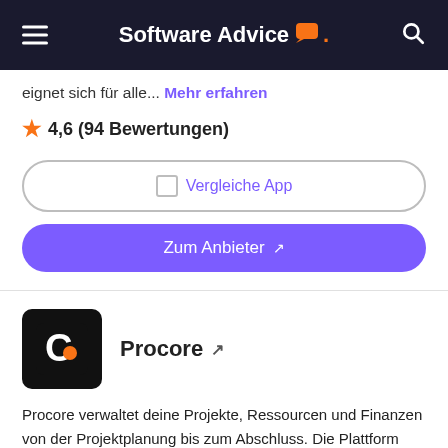Software Advice.
eignet sich für alle... Mehr erfahren
4,6 (94 Bewertungen)
Vergleiche App
Zum Anbieter ↗
[Figure (logo): Procore logo — black square with white stylized C and orange dot]
Procore ↗
Procore verwaltet deine Projekte, Ressourcen und Finanzen von der Projektplanung bis zum Abschluss. Die Plattform verbindet jeden Projektmitwirkenden mit dem Eigentümer und dem General- oder Fachunternehmen. Über das zentrale... Mehr erfahren
4,5 (3.512 Bewertungen)